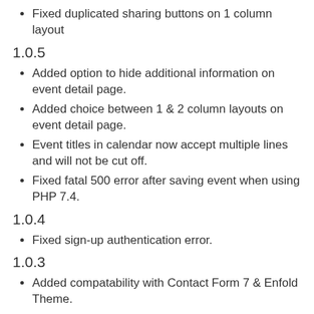Fixed duplicated sharing buttons on 1 column layout
1.0.5
Added option to hide additional information on event detail page.
Added choice between 1 & 2 column layouts on event detail page.
Event titles in calendar now accept multiple lines and will not be cut off.
Fixed fatal 500 error after saving event when using PHP 7.4.
1.0.4
Fixed sign-up authentication error.
1.0.3
Added compatability with Contact Form 7 & Enfold Theme.